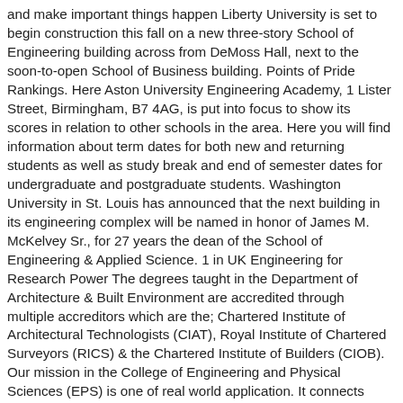and make important things happen Liberty University is set to begin construction this fall on a new three-story School of Engineering building across from DeMoss Hall, next to the soon-to-open School of Business building. Points of Pride Rankings. Here Aston University Engineering Academy, 1 Lister Street, Birmingham, B7 4AG, is put into focus to show its scores in relation to other schools in the area. Here you will find information about term dates for both new and returning students as well as study break and end of semester dates for undergraduate and postgraduate students. Washington University in St. Louis has announced that the next building in its engineering complex will be named in honor of James M. McKelvey Sr., for 27 years the dean of the School of Engineering & Applied Science. 1 in UK Engineering for Research Power The degrees taught in the Department of Architecture & Built Environment are accredited through multiple accreditors which are the; Chartered Institute of Architectural Technologists (CIAT), Royal Institute of Chartered Surveyors (RICS) & the Chartered Institute of Builders (CIOB). Our mission in the College of Engineering and Physical Sciences (EPS) is one of real world application. It connects three engineering buildings and increased the School of Engineering's research lab space by 22 percent. Postgraduate programmes. The UAB School of Engineering is a world-class institution of engineering